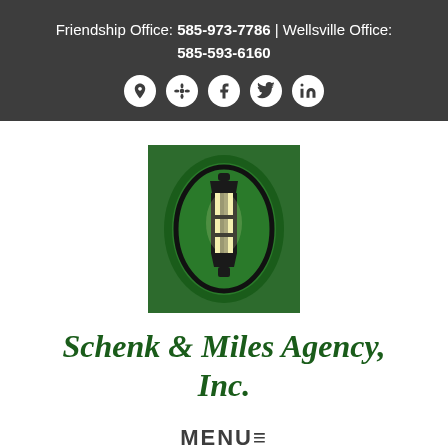Friendship Office: 585-973-7786 | Wellsville Office: 585-593-6160
[Figure (logo): Schenk & Miles Agency logo: a vintage lantern with cream/yellow glass panels on a dark green oval background, set in a dark green square frame]
Schenk & Miles Agency, Inc.
MENU≡